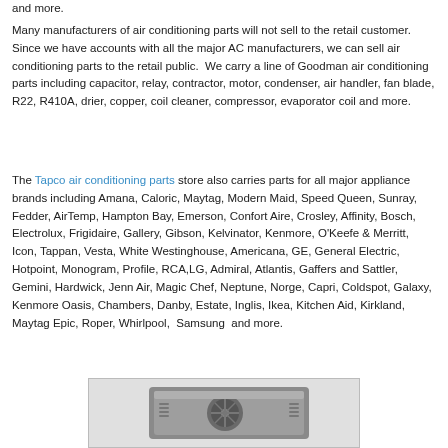and more.
Many manufacturers of air conditioning parts will not sell to the retail customer.  Since we have accounts with all the major AC manufacturers, we can sell air conditioning parts to the retail public.  We carry a line of Goodman air conditioning parts including capacitor, relay, contractor, motor, condenser, air handler, fan blade, R22, R410A, drier, copper, coil cleaner, compressor, evaporator coil and more.
The Tapco air conditioning parts store also carries parts for all major appliance brands including Amana, Caloric, Maytag, Modern Maid, Speed Queen, Sunray, Fedder, AirTemp, Hampton Bay, Emerson, Confort Aire, Crosley, Affinity, Bosch, Electrolux, Frigidaire, Gallery, Gibson, Kelvinator, Kenmore, O'Keefe & Merritt, Icon, Tappan, Vesta, White Westinghouse, Americana, GE, General Electric, Hotpoint, Monogram, Profile, RCA,LG, Admiral, Atlantis, Gaffers and Sattler, Gemini, Hardwick, Jenn Air, Magic Chef, Neptune, Norge, Capri, Coldspot, Galaxy, Kenmore Oasis, Chambers, Danby, Estate, Inglis, Ikea, Kitchen Aid, Kirkland, Maytag Epic, Roper, Whirlpool,  Samsung  and more.
[Figure (photo): Photo of an air conditioning unit/compressor component]